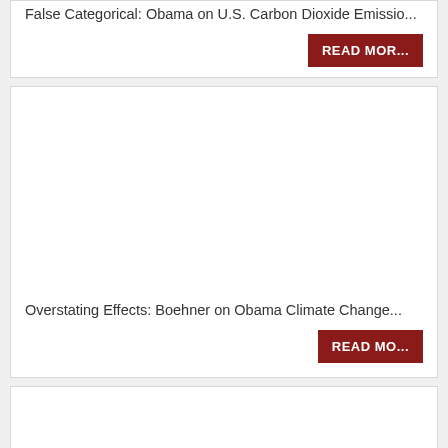False Categorical: Obama on U.S. Carbon Dioxide Emissions
READ MORE
[Figure (photo): Image placeholder for Boehner on Obama Climate Change article]
Overstating Effects: Boehner on Obama Climate Change
READ MORE
[Figure (photo): Image placeholder for third card article]